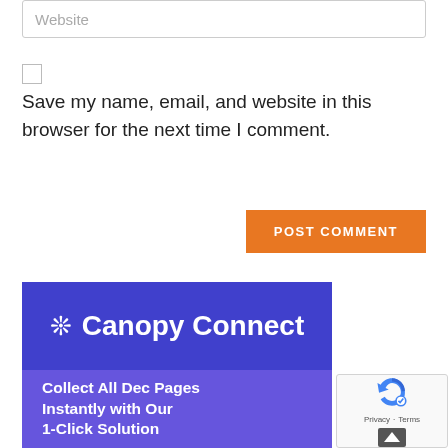Website
Save my name, email, and website in this browser for the next time I comment.
POST COMMENT
[Figure (logo): Canopy Connect logo on blue background with snowflake icon and company name]
Collect All Dec Pages Instantly with Our 1-Click Solution